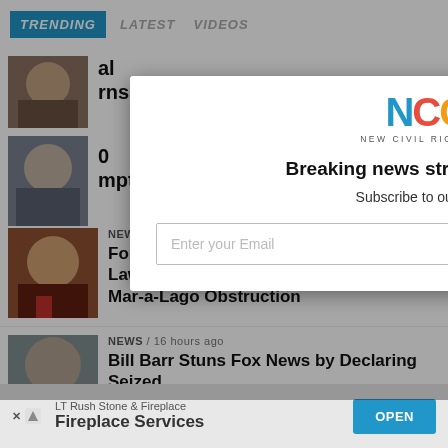TRENDING  LATEST  VIDEOS
[Figure (screenshot): News website screenshot with partially visible thumbnails of Donald Trump and news headlines in the background]
[Figure (logo): NCRM - New Civil Rights Movement logo with colorful letters]
Breaking news straight to your inbox!
Subscribe to our free newsletter.
Enter your Email  SUBMIT
NEWS / 21 hours ago
Former FBI Official Dismantles Trump Lawyer's Latest 'Idiotic Argument' for Mar-a-Lago Obstruction
NEWS / 16 hours ago
Bill Barr Stuns Fox News by Declaring Seized
LT Rush Stone & Fireplace  Fireplace Services  OPEN